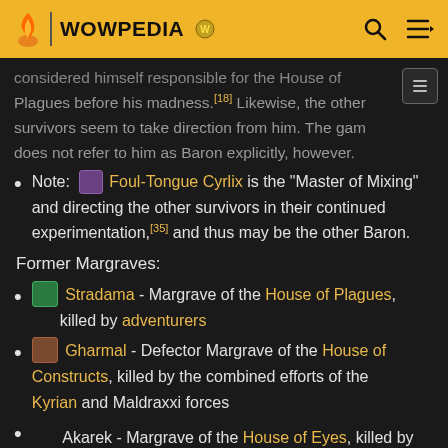WOWPEDIA
considered himself responsible for the House of Plagues before his madness.[18] Likewise, the other survivors seem to take direction from him. The game does not refer to him as Baron explicitly, however.
Note: Foul-Tongue Cyrlix is the "Master of Mixing" and directing the other survivors in their continued experimentation,[35] and thus may be the other Baron.
Former Margraves:
Stradama - Margrave of the House of Plagues, killed by adventurers
Gharmal - Defector Margrave of the House of Constructs, killed by the combined efforts of the Kyrian and Maldraxxi forces
Akarek - Margrave of the House of Eyes, killed by